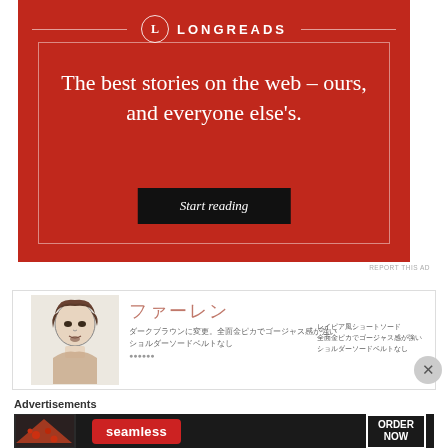[Figure (infographic): Longreads advertisement on red background. Logo with L in circle, decorative horizontal lines, tagline 'The best stories on the web – ours, and everyone else's.' with a dark 'Start reading' button.]
REPORT THIS AD
[Figure (illustration): Anime-style advertisement featuring a male character illustration with Japanese text and product description.]
Advertisements
[Figure (infographic): Seamless food delivery advertisement with pizza image, Seamless logo pill, and ORDER NOW button on dark background.]